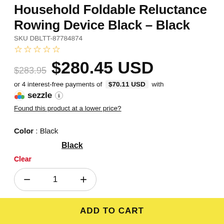Household Foldable Reluctance Rowing Device Black – Black
SKU DBLTT-87784874
★☆☆☆☆
$283.95  $280.45 USD
or 4 interest-free payments of  $70.11 USD  with
sezzle ℹ
Found this product at a lower price?
Color : Black
Black
Clear
1
ADD TO CART